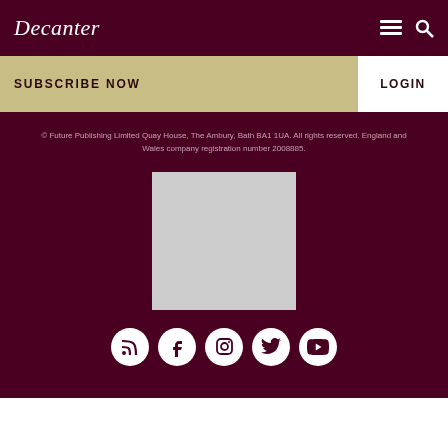Decanter
SUBSCRIBE NOW
LOGIN
© Future Publishing Limited Quay House, The Ambury, Bath BA1 1UA. All rights reserved. England and Wales company registration number 2008885.
[Figure (other): Gray placeholder rectangle]
[Figure (other): Social media icons: RSS, Facebook, Instagram, Twitter, YouTube]